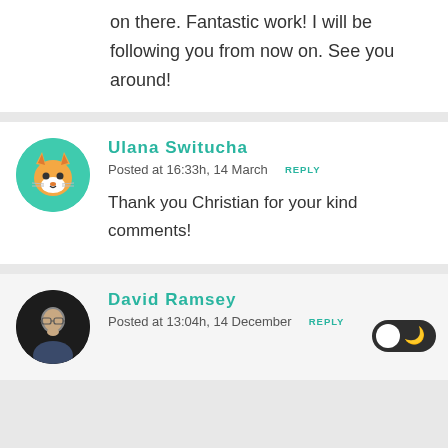on there. Fantastic work! I will be following you from now on. See you around!
[Figure (illustration): Green circular avatar with cartoon orange cat face]
Ulana Switucha
Posted at 16:33h, 14 March  REPLY
Thank you Christian for your kind comments!
[Figure (photo): Dark circular avatar with photo of a man wearing glasses]
David Ramsey
Posted at 13:04h, 14 December  REPLY